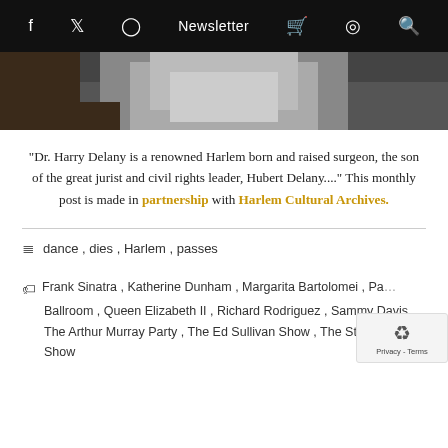f  Twitter  Instagram  Newsletter  Cart  Podcast  Search
[Figure (photo): A partial photo of a person wearing a grey sweater, cropped to show only the torso area]
"Dr. Harry Delany is a renowned Harlem born and raised surgeon, the son of the great jurist and civil rights leader, Hubert Delany...." This monthly post is made in partnership with Harlem Cultural Archives.
dance, dies, Harlem, passes
Frank Sinatra, Katherine Dunham, Margarita Bartolomei, Palladium Ballroom, Queen Elizabeth II, Richard Rodriguez, Sammy Davis, The Arthur Murray Party, The Ed Sullivan Show, The Steve Allen Show